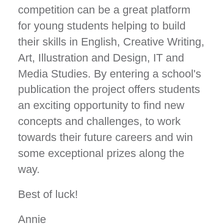competition can be a great platform for young students helping to build their skills in English, Creative Writing, Art, Illustration and Design, IT and Media Studies. By entering a school's publication the project offers students an exciting opportunity to find new concepts and challenges, to work towards their future careers and win some exceptional prizes along the way.
Best of luck!
Annie
Useful links:
– Register for Shine 2018
– Helpful guidelines for schools